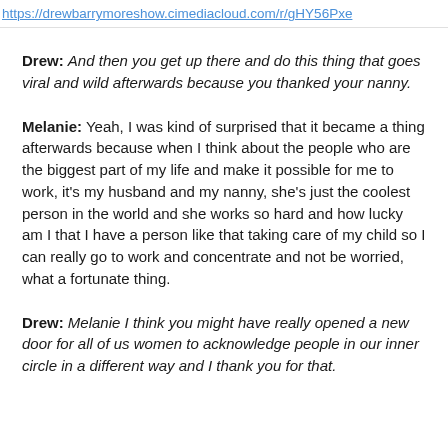https://drewbarrymoreshow.cimediacloud.com/r/gHY56Pxe
Drew: And then you get up there and do this thing that goes viral and wild afterwards because you thanked your nanny.
Melanie: Yeah, I was kind of surprised that it became a thing afterwards because when I think about the people who are the biggest part of my life and make it possible for me to work, it's my husband and my nanny, she's just the coolest person in the world and she works so hard and how lucky am I that I have a person like that taking care of my child so I can really go to work and concentrate and not be worried, what a fortunate thing.
Drew: Melanie I think you might have really opened a new door for all of us women to acknowledge people in our inner circle in a different way and I thank you for that.